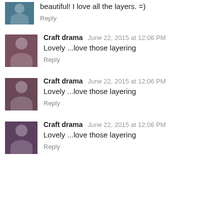beautiful! I love all the layers. =)
Reply
Craft drama  June 22, 2015 at 12:06 PM
Lovely ...love those layering
Reply
Craft drama  June 22, 2015 at 12:06 PM
Lovely ...love those layering
Reply
Craft drama  June 22, 2015 at 12:06 PM
Lovely ...love those layering
Reply